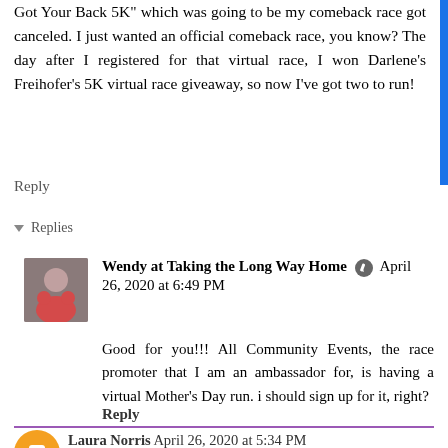Got Your Back 5K" which was going to be my comeback race got canceled. I just wanted an official comeback race, you know? The day after I registered for that virtual race, I won Darlene's Freihofer's 5K virtual race giveaway, so now I've got two to run!
Reply
Replies
Wendy at Taking the Long Way Home  April 26, 2020 at 6:49 PM
Good for you!!! All Community Events, the race promoter that I am an ambassador for, is having a virtual Mother's Day run. i should sign up for it, right?
Reply
Laura Norris  April 26, 2020 at 5:34 PM
Great job on that virtual half marathon! If we had a cabin, we would go there also and not interact with anyone, but just enjoy a